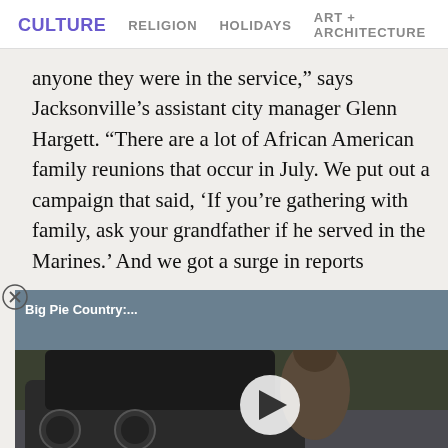CULTURE   RELIGION   HOLIDAYS   ART + ARCHITECTURE
anyone they were in the service,” says Jacksonville’s assistant city manager Glenn Hargett. “There are a lot of African American family reunions that occur in July. We put out a campaign that said, ‘If you’re gathering with family, ask your grandfather if he served in the Marines.’ And we got a surge in reports   Montford Point Marine
[Figure (screenshot): Video player thumbnail showing a man leaning against a car, with label 'Big Pie Country:...' and a play button overlay]
To date, they’ve identified about 20,000 people, but Shinal admits the record is incomplete.